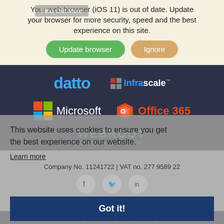Your web browser (iOS 11) is out of date. Update your browser for more security, speed and the best experience on this site.
Update browser   Ignore
[Figure (logo): datto logo in blue bold text]
[Figure (logo): Infrascale logo with red/grey grid icon and blue/white text with TM]
[Figure (logo): Microsoft logo with 4-color grid and white text]
[Figure (logo): Office 365 logo with orange icon and red-orange text]
[Figure (logo): WEBROOT Secure Anywhere logo in green text]
This website uses cookies to ensure you get the best experience on our website.
Learn more
Company No. 11241722 | VAT no. 277 9589 22
Got it!
© 2022 Gray IT . Privacy Policy . Site by TILT